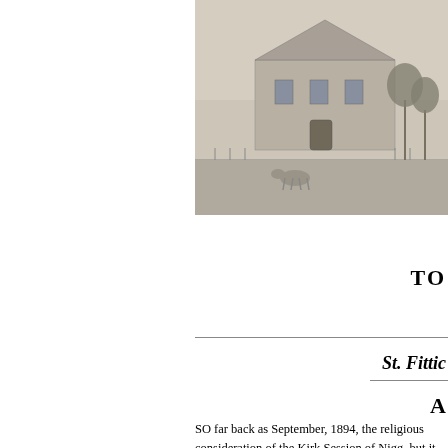[Figure (illustration): Engraving or illustration of a church or historic building, partially visible at the top right of the page, cropped]
TO
St. Fittic
A
SO far back as September, 1894, the religious consideration of the Kirk Session of Nigg, but it resolved to proceed in the matter, and a public of March in that year.
At that meeting a Local Committee was appo- Church Extension Association of Aberdeen in worship.
On 19th November, 1898. the foundation-stone Esq., Convener of the Church Extension Com- was dedicated to the public worship of God.
Steps were then taken towards securing a mi- Archibald Minister, M.A. Assistant in the hh